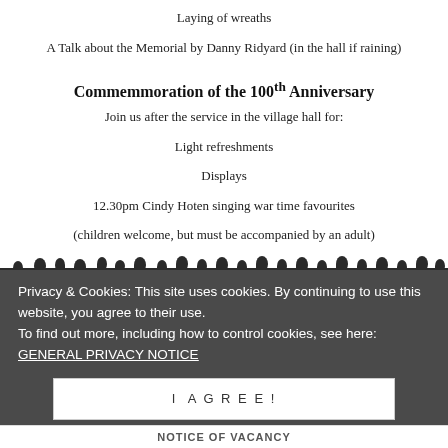Laying of wreaths
A Talk about the Memorial by Danny Ridyard (in the hall if raining)
Commemmoration of the 100th Anniversary
Join us after the service in the village hall for:
Light refreshments
Displays
12.30pm Cindy Hoten singing war time favourites
(children welcome, but must be accompanied by an adult)
[Figure (illustration): Silhouette of soldiers/people in a row along the bottom of the content area]
Privacy & Cookies: This site uses cookies. By continuing to use this website, you agree to their use. To find out more, including how to control cookies, see here: GENERAL PRIVACY NOTICE
I AGREE!
NOTICE OF VACANCY